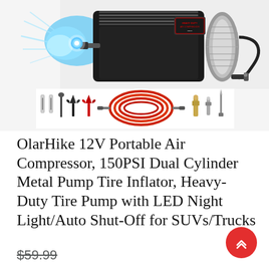[Figure (photo): OlarHike 12V portable air compressor with LED light glowing blue on left side, black metal body, silver cylindrical motor, black hose with cigarette lighter plug. Below: accessories row showing fuses, needle adapter, alligator clamps, red coiled hose, valve adapters, and needle tip.]
OlarHike 12V Portable Air Compressor, 150PSI Dual Cylinder Metal Pump Tire Inflator, Heavy-Duty Tire Pump with LED Night Light/Auto Shut-Off for SUVs/Trucks
$59.99